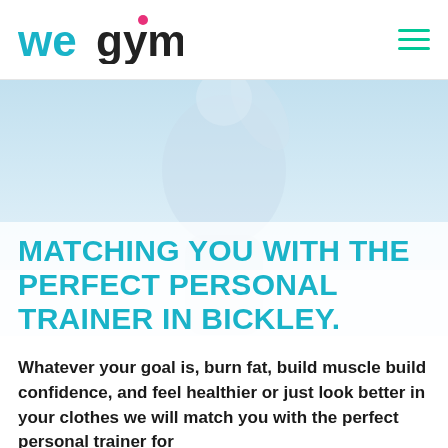[Figure (logo): WeGym logo — 'wegym' in teal/cyan bold text with a pink dot above the 'm']
MATCHING YOU WITH THE PERFECT PERSONAL TRAINER IN BICKLEY.
[Figure (photo): Faded background photo of a fitness trainer flexing arm, wearing a white tank top, light blue/white tones]
Whatever your goal is, burn fat, build muscle build confidence, and feel healthier or just look better in your clothes we will match you with the perfect personal trainer for